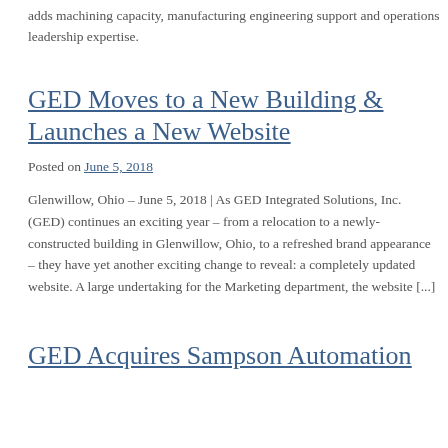adds machining capacity, manufacturing engineering support and operations leadership expertise.
GED Moves to a New Building & Launches a New Website
Posted on June 5, 2018
Glenwillow, Ohio – June 5, 2018 | As GED Integrated Solutions, Inc. (GED) continues an exciting year – from a relocation to a newly-constructed building in Glenwillow, Ohio, to a refreshed brand appearance – they have yet another exciting change to reveal: a completely updated website. A large undertaking for the Marketing department, the website [...]
GED Acquires Sampson Automation